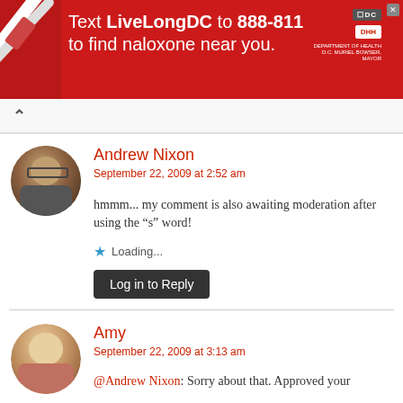[Figure (infographic): Red banner advertisement: Text LiveLongDC to 888-811 to find naloxone near you. DC Department of Health logo on right side.]
^
Andrew Nixon
September 22, 2009 at 2:52 am
hmmm... my comment is also awaiting moderation after using the "s" word!
Loading...
Log in to Reply
Amy
September 22, 2009 at 3:13 am
@Andrew Nixon: Sorry about that. Approved your